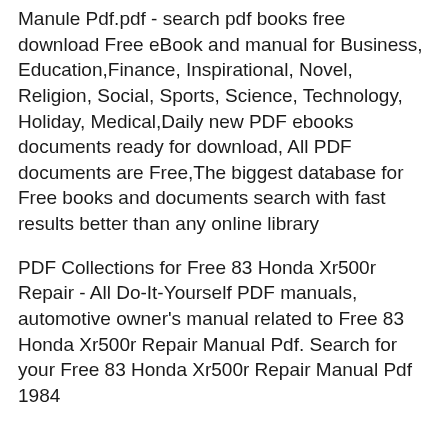Manule Pdf.pdf - search pdf books free download Free eBook and manual for Business, Education,Finance, Inspirational, Novel, Religion, Social, Sports, Science, Technology, Holiday, Medical,Daily new PDF ebooks documents ready for download, All PDF documents are Free,The biggest database for Free books and documents search with fast results better than any online library
PDF Collections for Free 83 Honda Xr500r Repair - All Do-It-Yourself PDF manuals, automotive owner's manual related to Free 83 Honda Xr500r Repair Manual Pdf. Search for your Free 83 Honda Xr500r Repair Manual Pdf 1984